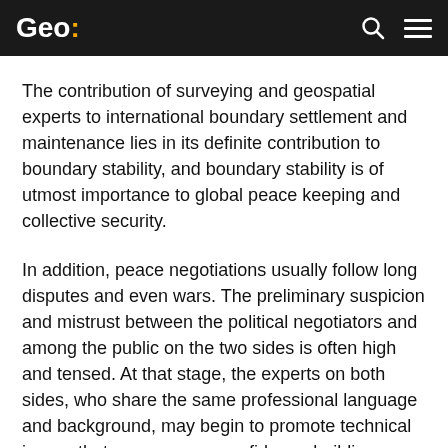Geo:
The contribution of surveying and geospatial experts to international boundary settlement and maintenance lies in its definite contribution to boundary stability, and boundary stability is of utmost importance to global peace keeping and collective security.
In addition, peace negotiations usually follow long disputes and even wars. The preliminary suspicion and mistrust between the political negotiators and among the public on the two sides is often high and tensed. At that stage, the experts on both sides, who share the same professional language and background, may begin to promote technical issues that can serve as confidence-building measures between the two sides.